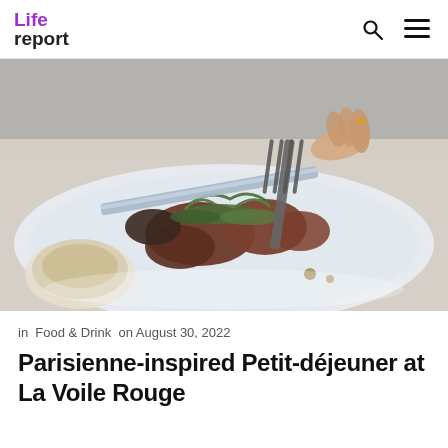Life report
[Figure (photo): Close-up of a gourmet meat dish on a white plate being cut with a knife and fork, with herbs and garnish visible. A hand holds the fork from above.]
in Food & Drink on August 30, 2022
Parisienne-inspired Petit-déjeuner at La Voile Rouge